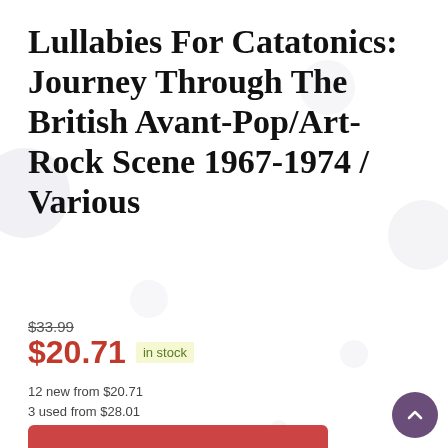Lullabies For Catatonics: Journey Through The British Avant-Pop/Art-Rock Scene 1967-1974 / Various
$33.99
$20.71  in stock
12 new from $20.71
3 used from $28.01
BUY NOW
Amazon.com
as of August 21, 2022 9:38 am